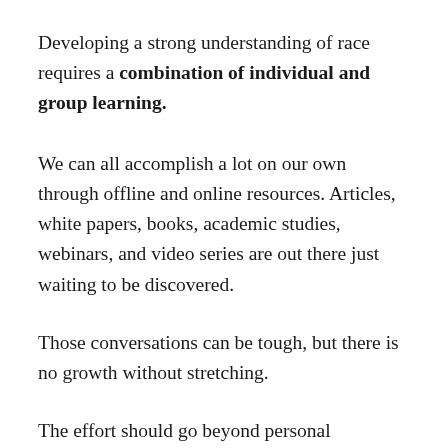Developing a strong understanding of race requires a combination of individual and group learning.
We can all accomplish a lot on our own through offline and online resources. Articles, white papers, books, academic studies, webinars, and video series are out there just waiting to be discovered.
Those conversations can be tough, but there is no growth without stretching.
The effort should go beyond personal conversations; this dialogue is only the starting point in the effort to become educated and understanding of the complex topic of